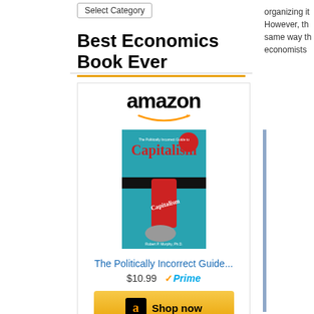Select Category
Best Economics Book Ever
[Figure (other): Amazon product widget showing book 'The Politically Incorrect Guide...' for $10.99 with Prime, and a Shop now button]
The Politically Incorrect Guide...
$10.99  Prime
Best Economic History Book Ever
[Figure (logo): Amazon logo at bottom]
organizing it
However, th
same way th
economists
So it was ref
John Quiggi